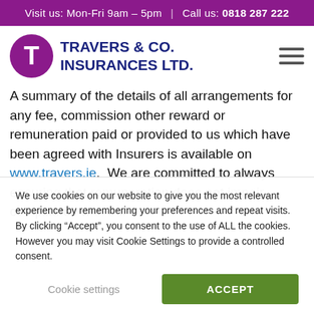Visit us: Mon-Fri 9am - 5pm | Call us: 0818 287 222
[Figure (logo): Travers & Co. Insurances Ltd. logo with purple circle T icon and dark blue company name text]
A summary of the details of all arrangements for any fee, commission other reward or remuneration paid or provided to us which have been agreed with Insurers is available on www.travers.ie. We are committed to always ensuring that remuneration does not impair compliance with our
We use cookies on our website to give you the most relevant experience by remembering your preferences and repeat visits. By clicking “Accept”, you consent to the use of ALL the cookies. However you may visit Cookie Settings to provide a controlled consent.
Cookie settings | ACCEPT